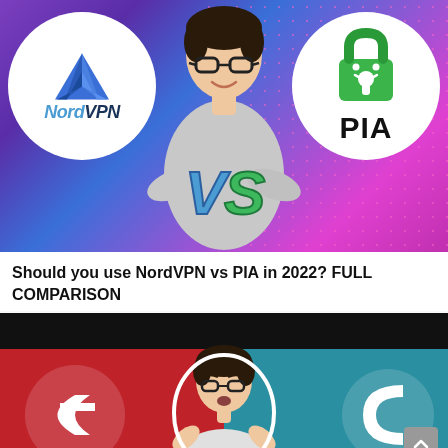[Figure (screenshot): YouTube thumbnail showing a man with crossed arms between NordVPN and PIA logos with VS text in the middle, on a purple-pink gradient background with dot pattern]
Should you use NordVPN vs PIA in 2022? FULL COMPARISON
[Figure (screenshot): Second YouTube thumbnail partially visible showing a man between a red background with a logo on the left and teal background with a logo on the right]